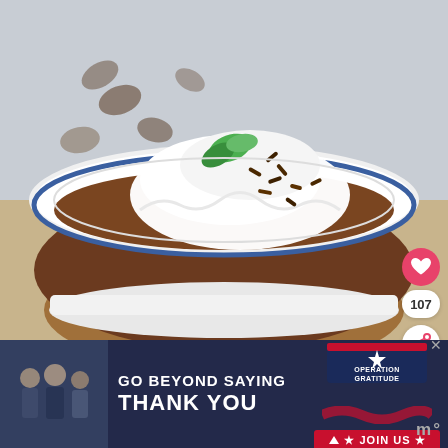[Figure (photo): A white bowl/cup filled with chocolate pudding or mousse, topped with whipped cream, chocolate sprinkles, and a fresh mint leaf. Scattered chocolate pieces visible in soft-focus background on a wooden board.]
[Figure (infographic): Advertisement banner: 'GO BEYOND SAYING THANK YOU' with Operation Gratitude logo and JOIN US button. Left side shows a photo of military/civilians. Right side has an 'm°' icon.]